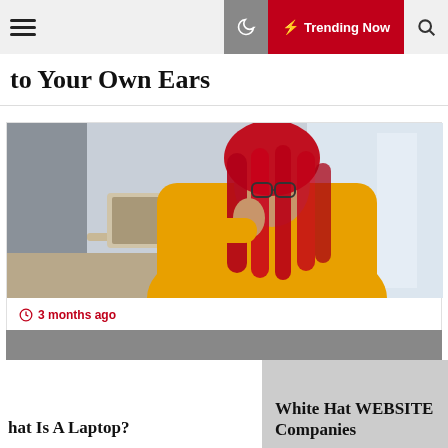☰  🌙  ⚡ Trending Now  🔍
to Your Own Ears
[Figure (photo): Woman with red braided hair and glasses wearing a yellow hoodie, leaning over a laptop in a bright room.]
3 months ago
How To Use GitHub Advanced Search For Recruiters
hat Is A Laptop?
White Hat WEBSITE Companies